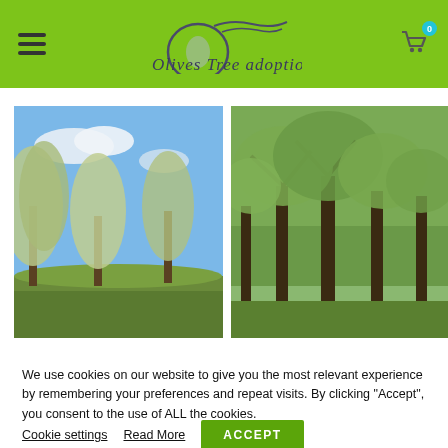Olives Tree Adoption — navigation header with hamburger menu and cart icon
[Figure (photo): Two photos of olive trees side by side. Left: olive trees with light-colored foliage against blue sky. Right: tall olive trees in a grove with dense green foliage.]
We use cookies on our website to give you the most relevant experience by remembering your preferences and repeat visits. By clicking “Accept”, you consent to the use of ALL the cookies.
Cookie settings   Read More   ACCEPT